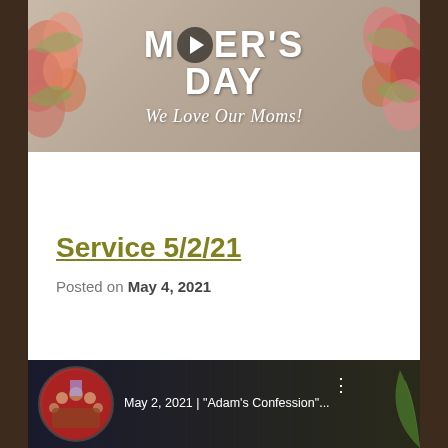[Figure (photo): Mother's Day video thumbnail with floral arrangement and text: MOTHER'S DAY We Love Our Moms! with a play button overlay]
Service 5/2/21
Posted on May 4, 2021
[Figure (screenshot): YouTube video thumbnail showing: May 2, 2021 | "Adam's Confession"... with a church group photo as the video thumbnail icon]